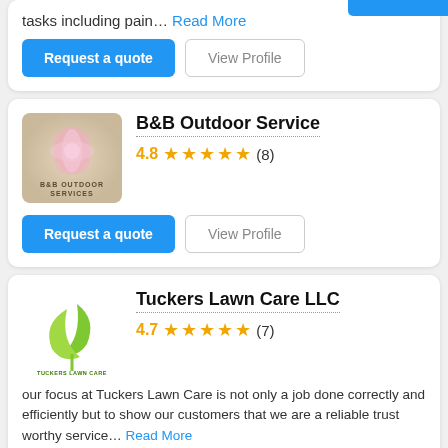tasks including pain... Read More
Request a quote | View Profile
B&B Outdoor Service
4.8 ★★★★★ (8)
Request a quote | View Profile
Tuckers Lawn Care LLC
4.7 ★★★★★ (7)
our focus at Tuckers Lawn Care is not only a job done correctly and efficiently but to show our customers that we are a reliable trust worthy service... Read More